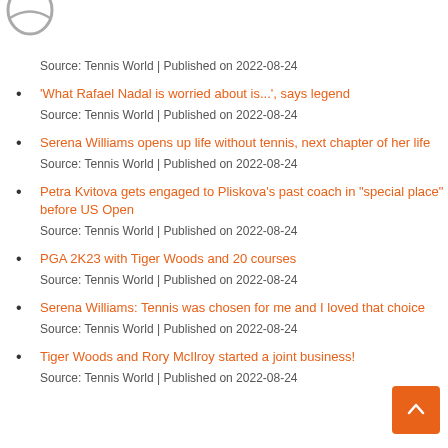Source: Tennis World | Published on 2022-08-24
'What Rafael Nadal is worried about is...', says legend
Source: Tennis World | Published on 2022-08-24
Serena Williams opens up life without tennis, next chapter of her life
Source: Tennis World | Published on 2022-08-24
Petra Kvitova gets engaged to Pliskova's past coach in "special place" before US Open
Source: Tennis World | Published on 2022-08-24
PGA 2K23 with Tiger Woods and 20 courses
Source: Tennis World | Published on 2022-08-24
Serena Williams: Tennis was chosen for me and I loved that choice
Source: Tennis World | Published on 2022-08-24
Tiger Woods and Rory McIlroy started a joint business!
Source: Tennis World | Published on 2022-08-24